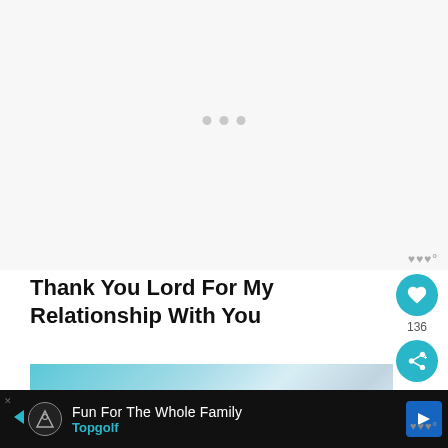[Figure (other): Light grey loading placeholder area with three grey dots in the center indicating content is loading]
Thank You Lord For My Relationship With You
[Figure (photo): Partial image of sky with blue tones and clouds, with italic white text overlay beginning with 'Thank you Lord for...']
Fun For The Whole Family Topgolf (advertisement)